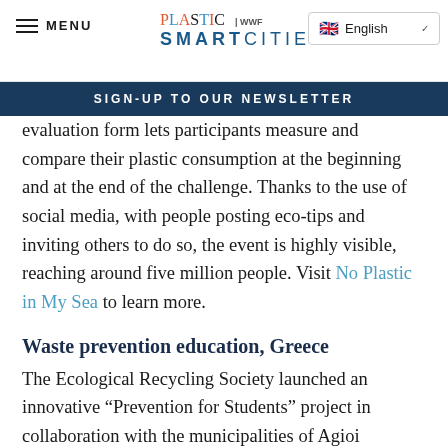MENU | PLASTIC SMART CITIES | WWF | English
SIGN-UP TO OUR NEWSLETTER
evaluation form lets participants measure and compare their plastic consumption at the beginning and at the end of the challenge. Thanks to the use of social media, with people posting eco-tips and inviting others to do so, the event is highly visible, reaching around five million people. Visit No Plastic in My Sea to learn more.
Waste prevention education, Greece
The Ecological Recycling Society launched an innovative “Prevention for Students” project in collaboration with the municipalities of Agioi Anargyroi-Kamatero, Zakynthos, Hersonissos, Kozani and the